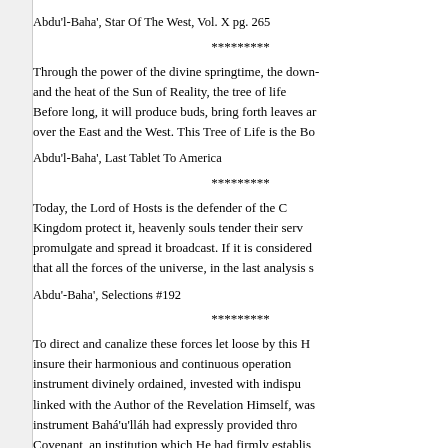Abdu'l-Baha', Star Of The West, Vol. X pg. 265
*********
Through the power of the divine springtime, the down- and the heat of the Sun of Reality, the tree of life Before long, it will produce buds, bring forth leaves ar over the East and the West. This Tree of Life is the Bo
Abdu'l-Baha', Last Tablet To America
*********
Today, the Lord of Hosts is the defender of the C Kingdom protect it, heavenly souls tender their serv promulgate and spread it broadcast. If it is considere that all the forces of the universe, in the last analysis s
Abdu'-Baha', Selections #192
*********
To direct and canalize these forces let loose by this H insure their harmonious and continuous operation instrument divinely ordained, invested with indispu linked with the Author of the Revelation Himself, was instrument Bahá'u'lláh had expressly provided thro Covenant, an institution which He had firmly establis This was a Covenant He had anticipated in His Kitá